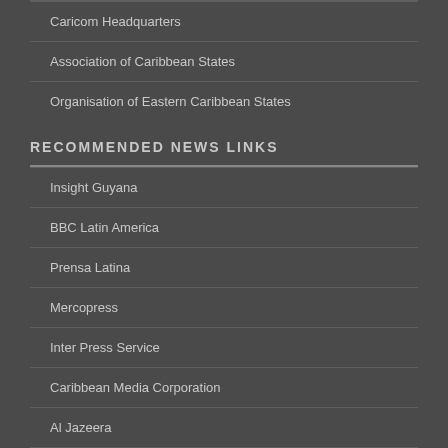Caricom Headquarters
Association of Caribbean States
Organisation of Eastern Caribbean States
RECOMMENDED NEWS LINKS
Insight Guyana
BBC Latin America
Prensa Latina
Mercopress
Inter Press Service
Caribbean Media Corporation
Al Jazeera
Voice of America
Business News Americas